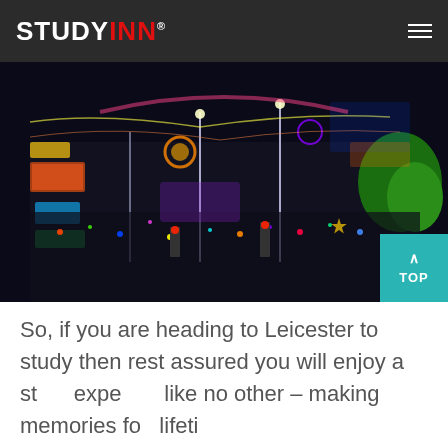STUDYINN®
[Figure (photo): Aerial night view of a crowded Leicester street festival with colorful lights and neon signs, large crowds of people filling the street.]
So, if you are heading to Leicester to study then rest assured you will enjoy a student experience like no other – making memories for a lifetime